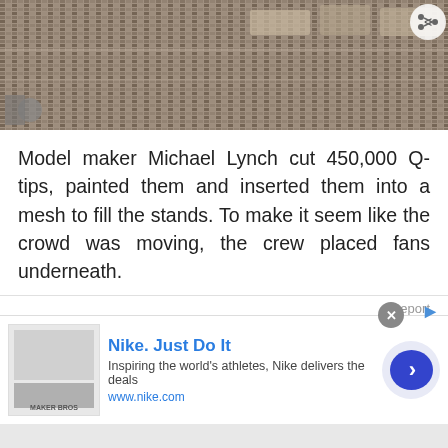[Figure (photo): Aerial view of stadium model with rows of Q-tips as crowd, geometric structure with stands visible from above]
Model maker Michael Lynch cut 450,000 Q-tips, painted them and inserted them into a mesh to fill the stands. To make it seem like the crowd was moving, the crew placed fans underneath.
Report
Final score:247
Add a comment...
POST
Kaisu  3 years ago
[Figure (infographic): Nike advertisement banner: Nike. Just Do It. Inspiring the world's athletes, Nike delivers the deals. www.nike.com]